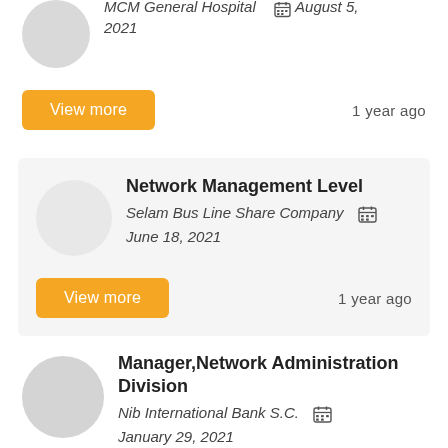MCM General Hospital — August 5, 2021
View more
1 year ago
Network Management Level
Selam Bus Line Share Company   June 18, 2021
View more
1 year ago
Manager,Network Administration Division
Nib International Bank S.C.   January 29, 2021